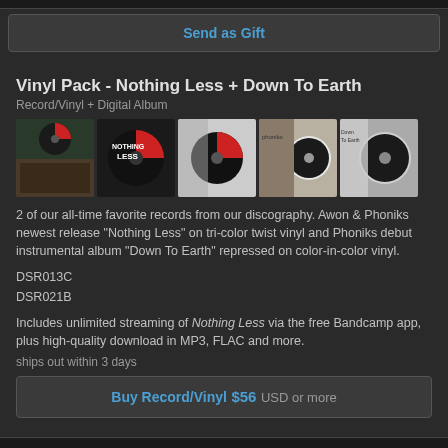Send as Gift
Vinyl Pack - Nothing Less + Down To Earth
Record/Vinyl + Digital Album
[Figure (photo): Five album cover thumbnail images showing vinyl records - Nothing Less and Down To Earth albums with colored vinyl]
2 of our all-time favorite records from our discography. Awon & Phoniks newest release "Nothing Less" on tri-color twist vinyl and Phoniks debut instrumental album "Down To Earth" repressed on color-in-color vinyl.
DSR013C
DSR021B
Includes unlimited streaming of Nothing Less via the free Bandcamp app, plus high-quality download in MP3, FLAC and more.
ships out within 3 days
Buy Record/Vinyl $56 USD or more